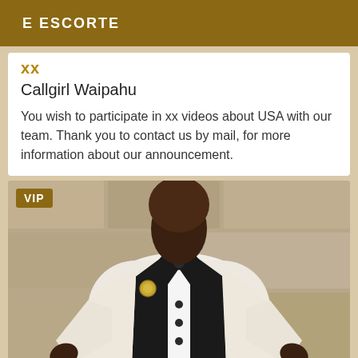E ESCORTE
xx
Callgirl Waipahu
You wish to participate in xx videos about USA with our team. Thank you to contact us by mail, for more information about our announcement.
[Figure (photo): Person wearing a white patterned tuxedo jacket with black lapels, black bow tie, and a brooch. VIP badge shown in top-left corner of the image.]